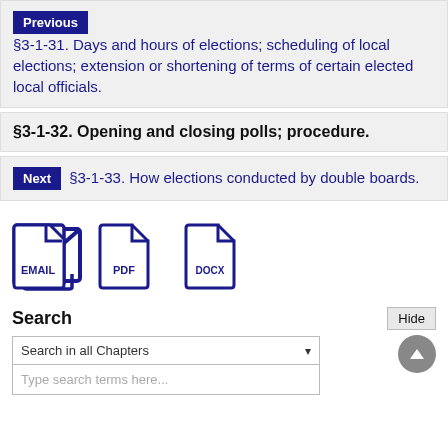Previous §3-1-31. Days and hours of elections; scheduling of local elections; extension or shortening of terms of certain elected local officials.
§3-1-32. Opening and closing polls; procedure.
Next §3-1-33. How elections conducted by double boards.
[Figure (infographic): Three file-type icons: EMAIL, PDF, DOCX]
Search
Hide
Search in all Chapters
Type search terms here...